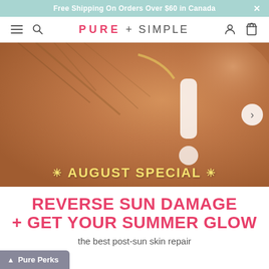Free Shipping On Orders Over $60 in Canada
[Figure (screenshot): Pure + Simple website navigation bar with hamburger menu, search icon, logo, user icon, and bag icon]
[Figure (photo): Close-up photo of a person's back/shoulder with sunscreen applied in an exclamation mark shape, overlaid with text 'AUGUST SPECIAL']
REVERSE SUN DAMAGE + GET YOUR SUMMER GLOW
the best post-sun skin repair
Pure Perks